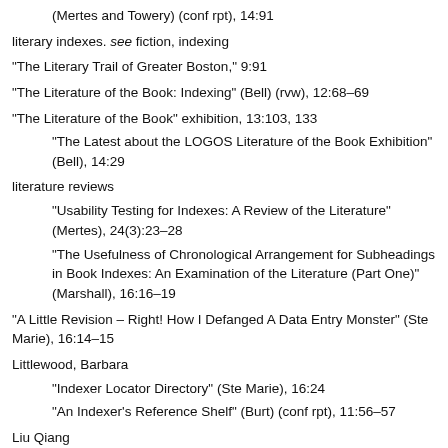(Mertes and Towery) (conf rpt), 14:91
literary indexes. see fiction, indexing
“The Literary Trail of Greater Boston,” 9:91
“The Literature of the Book: Indexing” (Bell) (rvw), 12:68–69
“The Literature of the Book” exhibition, 13:103, 133
“The Latest about the LOGOS Literature of the Book Exhibition” (Bell), 14:29
literature reviews
“Usability Testing for Indexes: A Review of the Literature” (Mertes), 24(3):23–28
“The Usefulness of Chronological Arrangement for Subheadings in Book Indexes: An Examination of the Literature (Part One)” (Marshall), 16:16–19
“A Little Revision – Right! How I Defanged A Data Entry Monster” (Ste Marie), 16:14–15
Littlewood, Barbara
“Indexer Locator Directory” (Ste Marie), 16:24
“An Indexer’s Reference Shelf” (Burt) (conf rpt), 11:56–57
Liu Qiang
“From the President’s Desk” (Shrout), 20:4